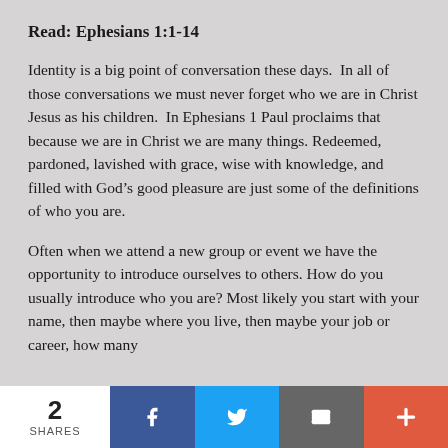Read: Ephesians 1:1-14
Identity is a big point of conversation these days.  In all of those conversations we must never forget who we are in Christ Jesus as his children.  In Ephesians 1 Paul proclaims that because we are in Christ we are many things. Redeemed, pardoned, lavished with grace, wise with knowledge, and filled with God’s good pleasure are just some of the definitions of who you are.
Often when we attend a new group or event we have the opportunity to introduce ourselves to others. How do you usually introduce who you are? Most likely you start with your name, then maybe where you live, then maybe your job or career, how many
2 SHARES